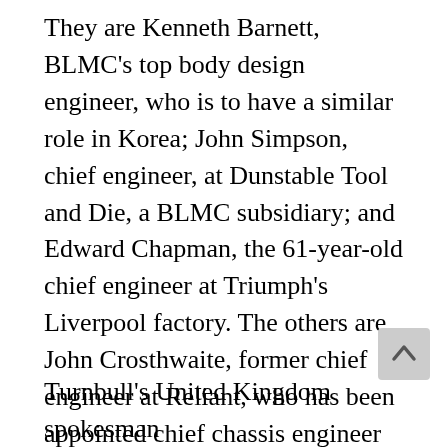They are Kenneth Barnett, BLMC's top body design engineer, who is to have a similar role in Korea; John Simpson, chief engineer, at Dunstable Tool and Die, a BLMC subsidiary; and Edward Chapman, the 61-year-old chief engineer at Triumph's Liverpool factory. The others are John Crosthwaite, former chief engineer at Reliant, who has been appointed chief chassis engineer and Peter Slater, chief development engineer for Girling who is to become Hyundai's chief development and test engineer.
Turnbull's United Kingdom spokesman